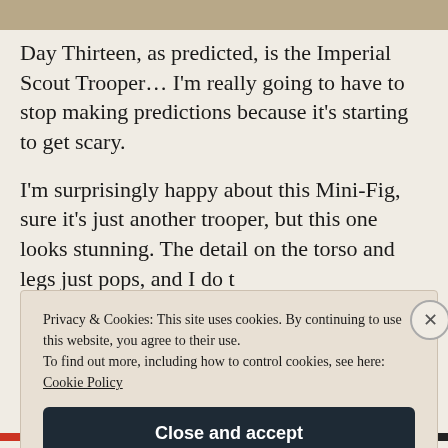[Figure (photo): Partial top image strip, appears to be a photo of sand/outdoor scene]
Day Thirteen, as predicted, is the Imperial Scout Trooper... I'm really going to have to stop making predictions because it's starting to get scary.
I'm surprisingly happy about this Mini-Fig, sure it's just another trooper, but this one looks stunning. The detail on the torso and legs just pops, and I do t
Privacy & Cookies: This site uses cookies. By continuing to use this website, you agree to their use.
To find out more, including how to control cookies, see here: Cookie Policy
Close and accept